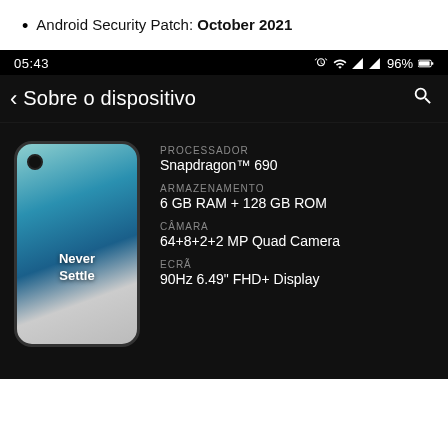Android Security Patch: October 2021
[Figure (screenshot): Android phone screenshot showing status bar with time 05:43, battery 96%, and device info screen 'Sobre o dispositivo' with OnePlus Nord N10 device image. Specs shown: Processador Snapdragon TM 690, Armazenamento 6 GB RAM + 128 GB ROM, Câmara 64+8+2+2 MP Quad Camera, Ecrã 90Hz 6.49" FHD+ Display]